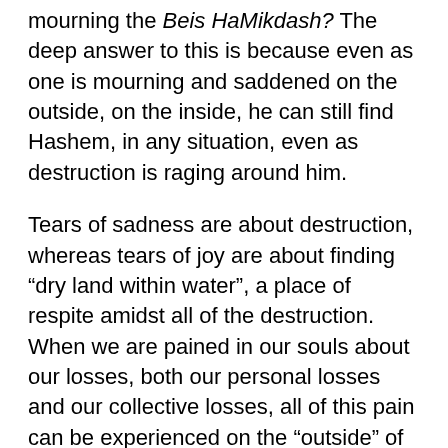mourning the Beis HaMikdash? The deep answer to this is because even as one is mourning and saddened on the outside, on the inside, he can still find Hashem, in any situation, even as destruction is raging around him.
Tears of sadness are about destruction, whereas tears of joy are about finding “dry land within water”, a place of respite amidst all of the destruction. When we are pained in our souls about our losses, both our personal losses and our collective losses, all of this pain can be experienced on the “outside” of the soul, but on the “inside” of our soul, we can find joy! How? When we realize how Hashem is always there with us!
The Gemara says that “On the outer chambers, Hashem says that their inner chambers...